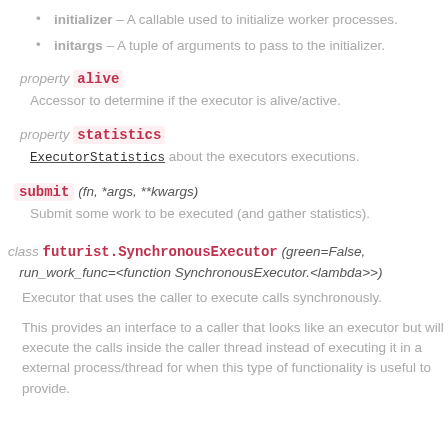initializer – A callable used to initialize worker processes.
initargs – A tuple of arguments to pass to the initializer.
property alive
Accessor to determine if the executor is alive/active.
property statistics
ExecutorStatistics about the executors executions.
submit (fn, *args, **kwargs)
Submit some work to be executed (and gather statistics).
class futurist.SynchronousExecutor (green=False, run_work_func=<function SynchronousExecutor.<lambda>>)
Executor that uses the caller to execute calls synchronously.
This provides an interface to a caller that looks like an executor but will execute the calls inside the caller thread instead of executing it in a external process/thread for when this type of functionality is useful to provide.